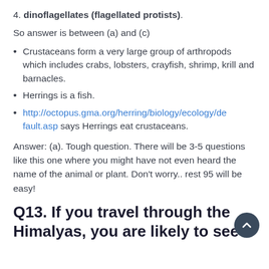4. dinoflagellates (flagellated protists).
So answer is between (a) and (c)
Crustaceans form a very large group of arthropods which includes crabs, lobsters, crayfish, shrimp, krill and barnacles.
Herrings is a fish.
http://octopus.gma.org/herring/biology/ecology/default.asp says Herrings eat crustaceans.
Answer: (a). Tough question. There will be 3-5 questions like this one where you might have not even heard the name of the animal or plant. Don’t worry.. rest 95 will be easy!
Q13. If you travel through the Himalyas, you are likely to see